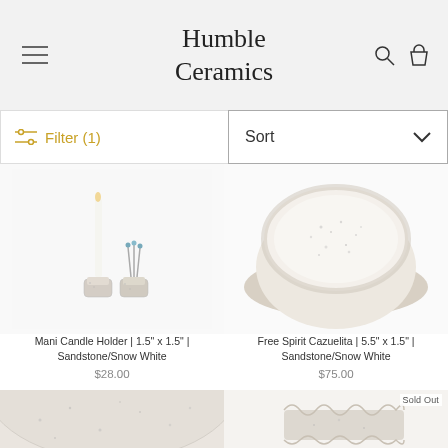Humble Ceramics
Filter (1)
Sort
[Figure (photo): Mani Candle Holder product photo — two small ceramic candle holders with white/speckled glaze, one holding a white taper candle and one holding matches, on a white background.]
Mani Candle Holder | 1.5" x 1.5" | Sandstone/Snow White
$28.00
[Figure (photo): Free Spirit Cazuelita product photo — a round shallow ceramic bowl with speckled white/cream glaze and a rough sandy exterior, shot from above on a white background.]
Free Spirit Cazuelita | 5.5" x 1.5" | Sandstone/Snow White
$75.00
[Figure (photo): Close-up of a ceramic plate with speckled white and sandy texture glaze, cropped tightly.]
[Figure (photo): Sold Out ceramic rectangular dish with ruffled/ridged edges in a sandy speckled glaze.]
Sold Out